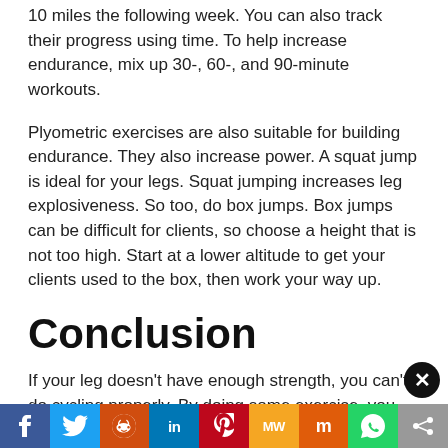10 miles the following week. You can also track their progress using time. To help increase endurance, mix up 30-, 60-, and 90-minute workouts.
Plyometric exercises are also suitable for building endurance. They also increase power. A squat jump is ideal for your legs. Squat jumping increases leg explosiveness. So too, do box jumps. Box jumps can be difficult for clients, so choose a height that is not too high. Start at a lower altitude to get your clients used to the box, then work your way up.
Conclusion
If your leg doesn't have enough strength, you can't do cycling properly. By doing some exercise, you can ...me